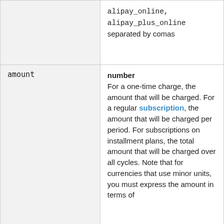| Parameter | Description |
| --- | --- |
|  | alipay_online,
alipay_plus_online
separated by comas |
| amount | number
For a one-time charge, the amount that will be charged. For a regular subscription, the amount that will be charged per period. For subscriptions on installment plans, the total amount that will be charged over all cycles. Note that for currencies that use minor units, you must express the amount in terms of |